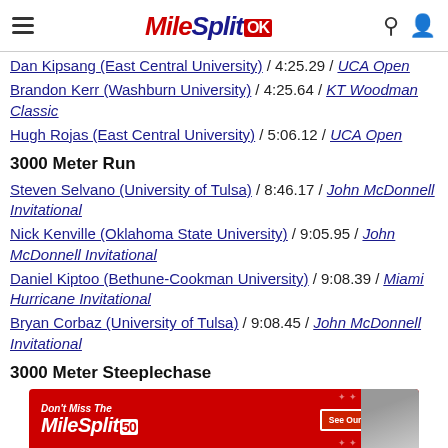MileSplit OK
Dan Kipsang (East Central University) / 4:25.29 / UCA Open
Brandon Kerr (Washburn University) / 4:25.64 / KT Woodman Classic
Hugh Rojas (East Central University) / 5:06.12 / UCA Open
3000 Meter Run
Steven Selvano (University of Tulsa) / 8:46.17 / John McDonnell Invitational
Nick Kenville (Oklahoma State University) / 9:05.95 / John McDonnell Invitational
Daniel Kiptoo (Bethune-Cookman University) / 9:08.39 / Miami Hurricane Invitational
Bryan Corbaz (University of Tulsa) / 9:08.45 / John McDonnell Invitational
3000 Meter Steeplechase
[Figure (infographic): MileSplit50 advertisement banner: Don't Miss The MileSplit50, See Our Rankings]